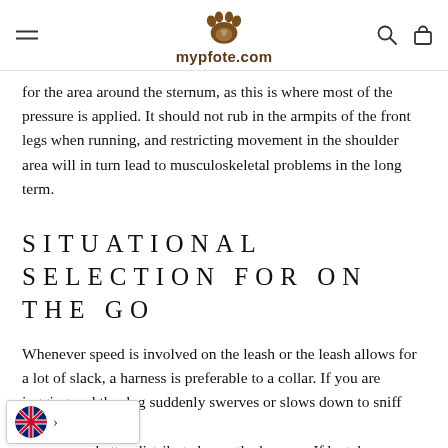mypfote.com
for the area around the sternum, as this is where most of the pressure is applied. It should not rub in the armpits of the front legs when running, and restricting movement in the shoulder area will in turn lead to musculoskeletal problems in the long term.
SITUATIONAL SELECTION FOR ON THE GO
Whenever speed is involved on the leash or the leash allows for a lot of slack, a harness is preferable to a collar. If you are jogging and the dog suddenly swerves or slows down to sniff something, better distributed over the harness. If he takes ge of the free space on the drag line when sprinting and